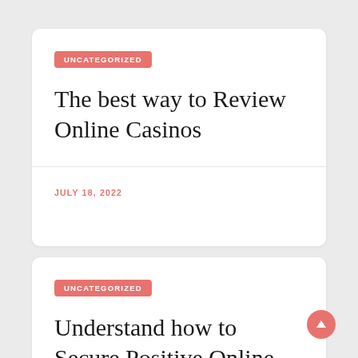UNCATEGORIZED
The best way to Review Online Casinos
JULY 18, 2022
UNCATEGORIZED
Understand how to Secure Positive Online Reviews.